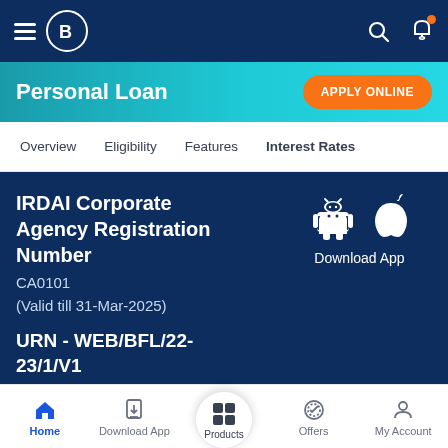Bajaj Finserv - Personal Loan app navigation bar
Personal Loan
APPLY ONLINE
Overview   Eligibility   Features   Interest Rates
IRDAI Corporate Agency Registration Number
CA0101
(Valid till 31-Mar-2025)
[Figure (screenshot): Android and Apple app store download icons with 'Download App' label]
URN - WEB/BFL/22-23/1/V1
Bajaj Finserv Limited
Regd. Office
Home   Download App   Products   Offers   My Account